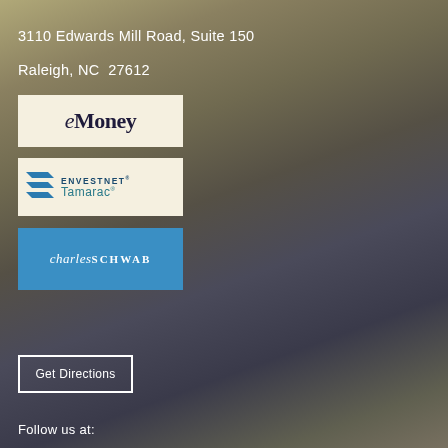3110 Edwards Mill Road, Suite 150
Raleigh, NC  27612
[Figure (logo): eMoney logo on light beige/cream background, italic e followed by bold Money text in dark navy]
[Figure (logo): Envestnet Tamarac logo on light beige/cream background with teal stacked chevron icon on left]
[Figure (logo): Charles Schwab logo on blue background, white italic 'charles' followed by uppercase bold 'SCHWAB']
Get Directions
Follow us at: